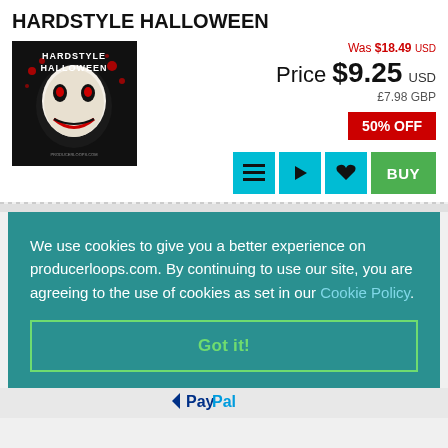HARDSTYLE HALLOWEEN
[Figure (illustration): Album art for Hardstyle Halloween showing a creepy clown face with blood splatter on dark background with text HARDSTYLE HALLOWEEN]
Was $18.49 USD
Price $9.25 USD
£7.98 GBP
50% OFF
We use cookies to give you a better experience on producerloops.com. By continuing to use our site, you are agreeing to the use of cookies as set in our Cookie Policy.
Got it!